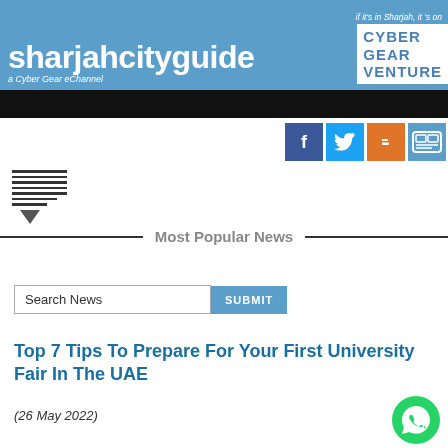sharjahcityguide | CYBER GEAR VENTURE | if it's in Sharjah, it's on | a Cyber Gear eChannel
[Figure (screenshot): Black navigation bar below header]
[Figure (infographic): Social media icons: Facebook (blue), Twitter (light blue), Blogger (orange), media icon (teal)]
[Figure (infographic): Hamburger menu icon with dropdown triangle]
Most Popular News
[Figure (screenshot): Search News input field with SUBMIT button]
Top 7 Tips To Prepare For Your First University Fair In The UAE
(26 May 2022)
[Figure (logo): WhatsApp green circle button icon]